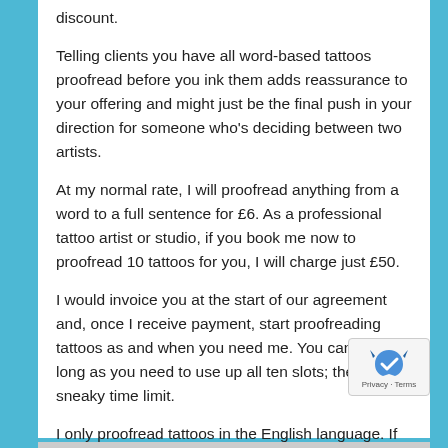discount.
Telling clients you have all word-based tattoos proofread before you ink them adds reassurance to your offering and might just be the final push in your direction for someone who's deciding between two artists.
At my normal rate, I will proofread anything from a word to a full sentence for £6. As a professional tattoo artist or studio, if you book me now to proofread 10 tattoos for you, I will charge just £50.
I would invoice you at the start of our agreement and, once I receive payment, start proofreading tattoos as and when you need me. You can take as long as you need to use up all ten slots; there is no sneaky time limit.
I only proofread tattoos in the English language. If you to know more, please contact me.